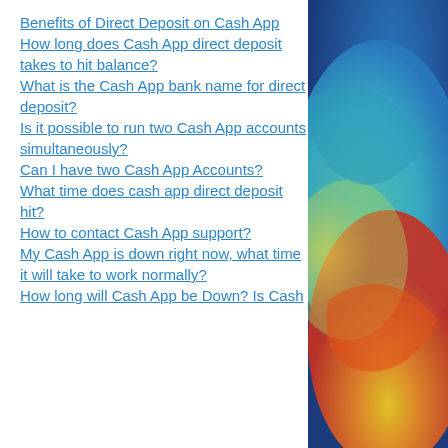Benefits of Direct Deposit on Cash App
How long does Cash App direct deposit takes to hit balance?
What is the Cash App bank name for direct deposit?
Is it possible to run two Cash App accounts simultaneously?
Can I have two Cash App Accounts?
What time does cash app direct deposit hit?
How to contact Cash App support?
My Cash App is down right now, what time it will take to work normally?
How long will Cash App be Down? Is Cash
[Figure (illustration): Colorful abstract swirling paint artwork used as decorative sidebar image with blues, greens, yellows, oranges and reds]